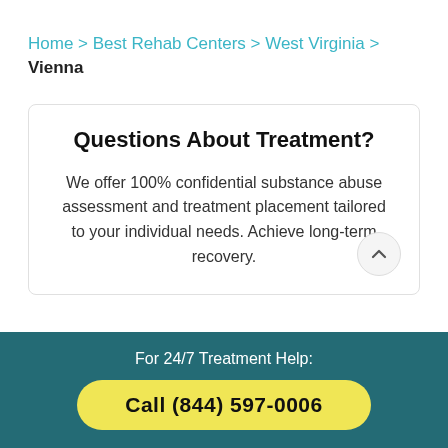Home > Best Rehab Centers > West Virginia > Vienna
Questions About Treatment?
We offer 100% confidential substance abuse assessment and treatment placement tailored to your individual needs. Achieve long-term recovery.
For 24/7 Treatment Help:
Call (844) 597-0006